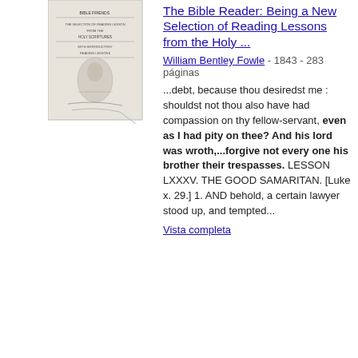[Figure (illustration): Thumbnail image of the book cover for 'The Bible Reader: Being a New Selection of Reading Lessons from the Holy...']
The Bible Reader: Being a New Selection of Reading Lessons from the Holy ...
William Bentley Fowle - 1843 - 283 páginas
...debt, because thou desiredst me : shouldst not thou also have had compassion on thy fellow-servant, even as I had pity on thee? And his lord was wroth,...forgive not every one his brother their trespasses. LESSON LXXXV. THE GOOD SAMARITAN. [Luke x. 29.] 1. AND behold, a certain lawyer stood up, and tempted...
Vista completa